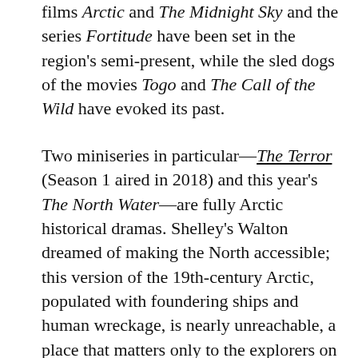films Arctic and The Midnight Sky and the series Fortitude have been set in the region's semi-present, while the sled dogs of the movies Togo and The Call of the Wild have evoked its past.
Two miniseries in particular—The Terror (Season 1 aired in 2018) and this year's The North Water—are fully Arctic historical dramas. Shelley's Walton dreamed of making the North accessible; this version of the 19th-century Arctic, populated with foundering ships and human wreckage, is nearly unreachable, a place that matters only to the explorers on its ice. But modern nostalgia is its own act of imagination...